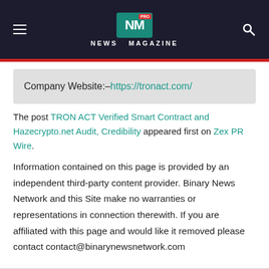NEWS MAGAZINE
Company Website:- https://tronact.com/
The post TRON ACT Verified Smart Contract and Hazecrypto.net Audit, Credibility appeared first on Zex PR Wire.
Information contained on this page is provided by an independent third-party content provider. Binary News Network and this Site make no warranties or representations in connection therewith. If you are affiliated with this page and would like it removed please contact contact@binarynewsnetwork.com